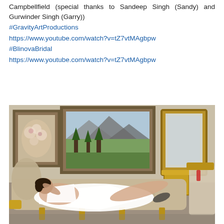Campbellfield (special thanks to Sandeep Singh (Sandy) and Gurwinder Singh (Garry))
#GravityArtProductions
https://www.youtube.com/watch?v=tZ7vtMAgbpw
#BlinovaBridal
https://www.youtube.com/watch?v=tZ7vtMAgbpw
[Figure (photo): A woman in a white bridal dress reclines on a gold and beige tufted chaise lounge in a furniture showroom. Gold-framed paintings hang on the wall behind her. A large ornate gold mirror and luxury chairs are visible in the background.]